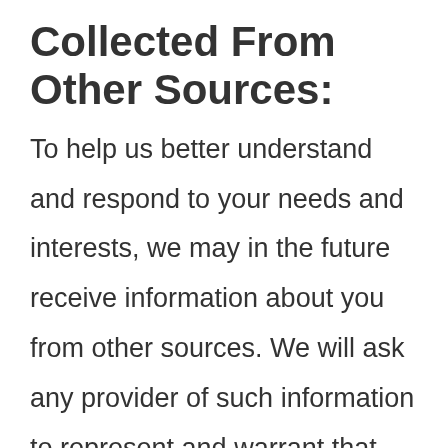Collected From Other Sources:
To help us better understand and respond to your needs and interests, we may in the future receive information about you from other sources. We will ask any provider of such information to represent and warrant that the information has been gathered and maintained in accordance with all state and federal laws. Any such